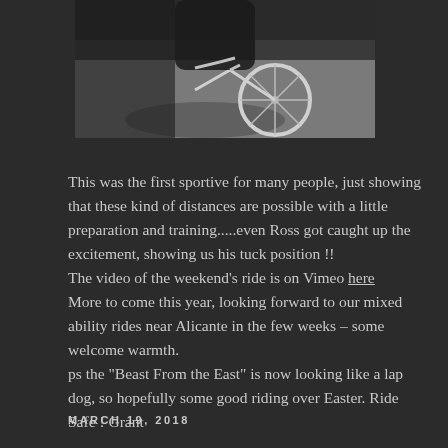[Figure (photo): A cyclist in a tucked aero position on a road bike, photographed from behind/above on a road surface. The image is partially cropped at the top.]
This was the first sportive for many people, just showing that these kind of distances are possible with a little preparation and training.....even Ross got caught up the excitement, showing us his tuck position !!
The video of the weekend's ride is on Vimeo here
More to come this year, looking forward to our mixed ability rides near Alicante in the few weeks – some welcome warmth.
ps the "Beast From the East" is now looking like a lap dog, so hopefully some good riding over Easter. Ride Safe ! Grant
MARCH 19, 2018